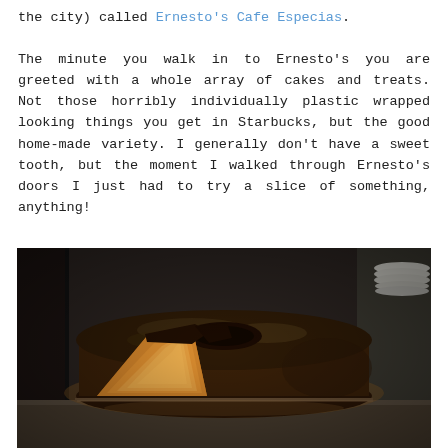the city) called Ernesto's Cafe Especias.
The minute you walk in to Ernesto's you are greeted with a whole array of cakes and treats. Not those horribly individually plastic wrapped looking things you get in Starbucks, but the good home-made variety. I generally don't have a sweet tooth, but the moment I walked through Ernesto's doors I just had to try a slice of something, anything!
[Figure (photo): A chocolate-glazed bundt or round cake with a slice cut out revealing a bright orange/yellow sponge interior, photographed in what appears to be a cafe display case.]